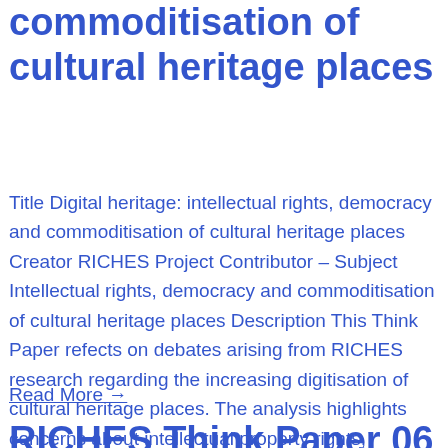commoditisation of cultural heritage places
Title Digital heritage: intellectual rights, democracy and commoditisation of cultural heritage places Creator RICHES Project Contributor – Subject Intellectual rights, democracy and commoditisation of cultural heritage places Description This Think Paper refects on debates arising from RICHES research regarding the increasing digitisation of cultural heritage places. The analysis highlights concerns about intellectual property rights, democratisation […]
Read More →
RICHES Think Paper 06